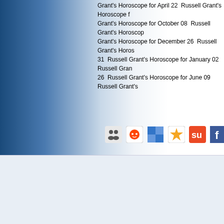Grant's Horoscope for April 22  Russell Grant's Horoscope ... Grant's Horoscope for October 08  Russell Grant's Horoscope... Grant's Horoscope for December 26  Russell Grant's Horoscope... 31  Russell Grant's Horoscope for January 02  Russell Grant... 26  Russell Grant's Horoscope for June 09  Russell Grant's...
[Figure (infographic): Social media sharing icons: MySpace-like icon, Reddit alien, Delicious blue squares, Yahoo/gold star icon, StumbleUpon, Facebook F]
Text MYSTIC to 78887 and your
Russell Grant Astrology Ltd., Suite 11, The Old Fuel Depot, Twemlow Ln, Twem... Calls to Live psychic lines cost £1.50 per minute plus your phone providers acces... and safety and this service is regulated by the Phone-paid Services Authority. All r... Astrology Ltd, WA15 8YL. Tel: 0161 784 0000. Texts to 78887: UK Only. Offer r... cost £1.50/msg sent, maximum of 3 replies per message sent. Standard network ch... service.18+ We may send you Free promo msgs, to opt out call Helpline: 0330 114-... services you permit us to store your details in harmony with UK law and to contac...
Psychic Readings | Horoscopes and Astrology | Love Astro... How we use Cookies | Privacy Policy/Terms of Use | C...